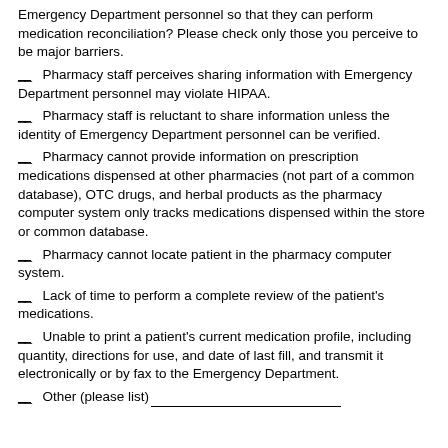Emergency Department personnel so that they can perform medication reconciliation? Please check only those you perceive to be major barriers.
__ Pharmacy staff perceives sharing information with Emergency Department personnel may violate HIPAA.
__ Pharmacy staff is reluctant to share information unless the identity of Emergency Department personnel can be verified.
__ Pharmacy cannot provide information on prescription medications dispensed at other pharmacies (not part of a common database), OTC drugs, and herbal products as the pharmacy computer system only tracks medications dispensed within the store or common database.
__ Pharmacy cannot locate patient in the pharmacy computer system.
__ Lack of time to perform a complete review of the patient's medications.
__ Unable to print a patient's current medication profile, including quantity, directions for use, and date of last fill, and transmit it electronically or by fax to the Emergency Department.
__ Other (please list)______________________